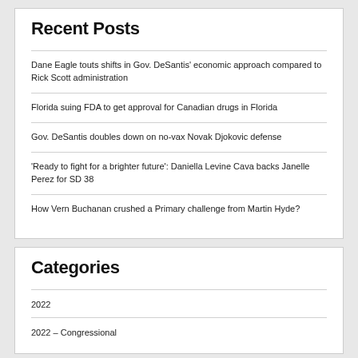Recent Posts
Dane Eagle touts shifts in Gov. DeSantis' economic approach compared to Rick Scott administration
Florida suing FDA to get approval for Canadian drugs in Florida
Gov. DeSantis doubles down on no-vax Novak Djokovic defense
'Ready to fight for a brighter future': Daniella Levine Cava backs Janelle Perez for SD 38
How Vern Buchanan crushed a Primary challenge from Martin Hyde?
Categories
2022
2022 – Congressional